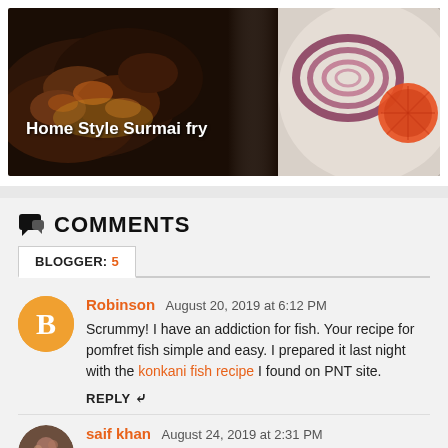[Figure (photo): Food photo showing Home Style Surmai fry — grilled/fried fish pieces with onion rings and tomato slices on a white plate, with white overlay text 'Home Style Surmai fry']
COMMENTS
BLOGGER: 5
Robinson August 20, 2019 at 6:12 PM
Scrummy! I have an addiction for fish. Your recipe for pomfret fish simple and easy. I prepared it last night with the konkani fish recipe I found on PNT site.
REPLY
saif khan August 24, 2019 at 2:31 PM
Wow! This seafood tandoori recipe is amazing. I love this